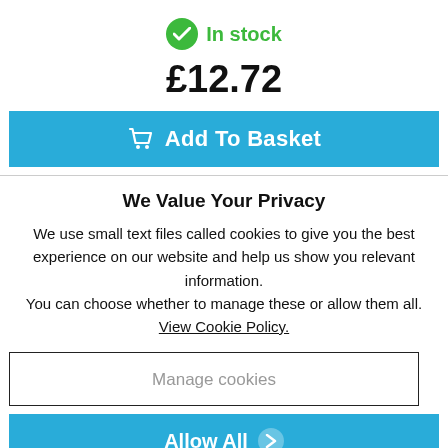In stock
£12.72
Add To Basket
We Value Your Privacy
We use small text files called cookies to give you the best experience on our website and help us show you relevant information.
You can choose whether to manage these or allow them all.
View Cookie Policy.
Manage cookies
Allow All